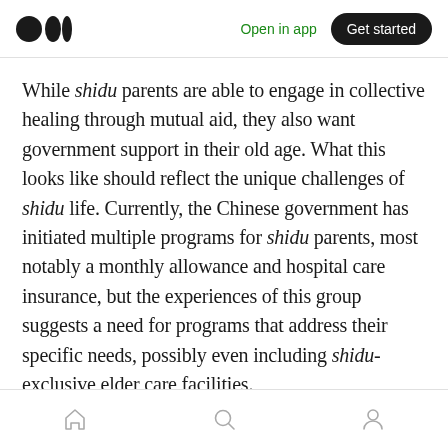Open in app | Get started
While shidu parents are able to engage in collective healing through mutual aid, they also want government support in their old age. What this looks like should reflect the unique challenges of shidu life. Currently, the Chinese government has initiated multiple programs for shidu parents, most notably a monthly allowance and hospital care insurance, but the experiences of this group suggests a need for programs that address their specific needs, possibly even including shidu-exclusive elder care facilities.